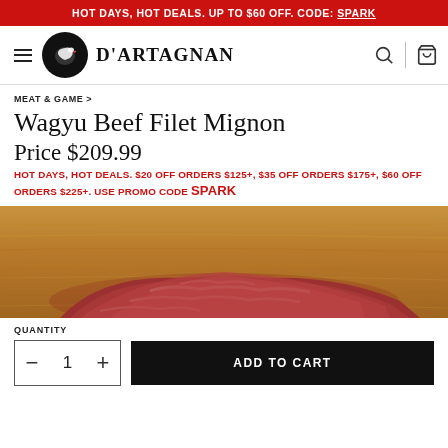HOT DAYS, HOT DEALS. UP TO $60 OFF. CODE: SPARK
[Figure (logo): D'Artagnan brand logo with circular black emblem and serif brand name]
MEAT & GAME >
Wagyu Beef Filet Mignon
Price $209.99
HOT DAYS, HOT DEALS. $20 OFF ORDERS $125+, $35 OFF ORDERS $175+, $60 OFF ORDERS $225+. USE PROMO CODE SPARK
[Figure (photo): Raw Wagyu beef filet mignon steak on a wooden cutting board]
QUANTITY
− 1 + ADD TO CART